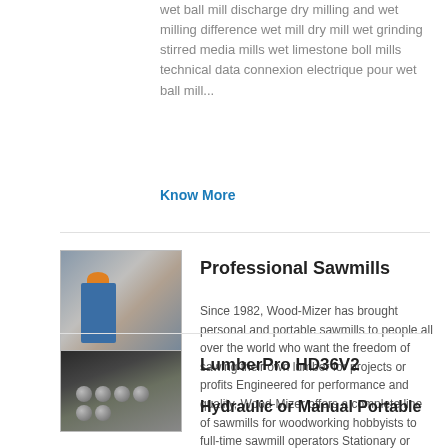wet ball mill discharge dry milling and wet milling difference wet mill dry mill wet grinding stirred media mills wet limestone boll mills technical data connexion electrique pour wet ball mill...
Know More
[Figure (photo): Worker in blue overalls and orange hard hat standing in an industrial setting]
Professional Sawmills
Since 1982, Wood-Mizer has brought personal and portable sawmills to people all over the world who want the freedom of sawing their own lumber for projects or profits Engineered for performance and quality, Wood-Mizer offers a complete line of sawmills for woodworking hobbyists to full-time sawmill operators Stationary or portable, manual or hydraulic, standard ,...
Know More
[Figure (photo): Hands holding multiple round steel balls/bearings against a dark background]
LumberPro HD36V2
Hydraulic or Manual Portable